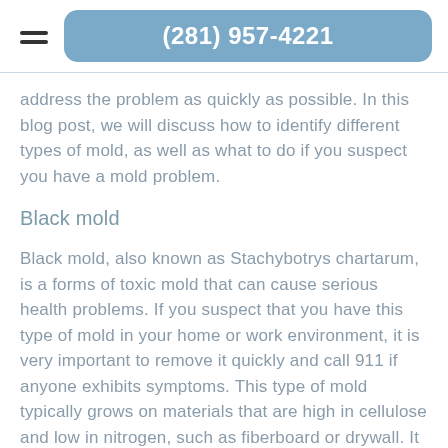(281) 957-4221
address the problem as quickly as possible. In this blog post, we will discuss how to identify different types of mold, as well as what to do if you suspect you have a mold problem.
Black mold
Black mold, also known as Stachybotrys chartarum, is a forms of toxic mold that can cause serious health problems. If you suspect that you have this type of mold in your home or work environment, it is very important to remove it quickly and call 911 if anyone exhibits symptoms. This type of mold typically grows on materials that are high in cellulose and low in nitrogen, such as fiberboard or drywall. It has